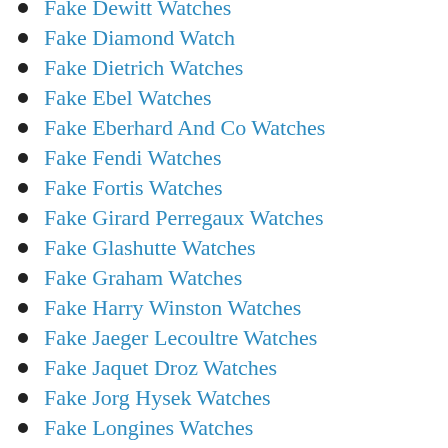Fake Dewitt Watches
Fake Diamond Watch
Fake Dietrich Watches
Fake Ebel Watches
Fake Eberhard And Co Watches
Fake Fendi Watches
Fake Fortis Watches
Fake Girard Perregaux Watches
Fake Glashutte Watches
Fake Graham Watches
Fake Harry Winston Watches
Fake Jaeger Lecoultre Watches
Fake Jaquet Droz Watches
Fake Jorg Hysek Watches
Fake Longines Watches
Fake Maurice Lacroix Watches
Fake Mens Watches